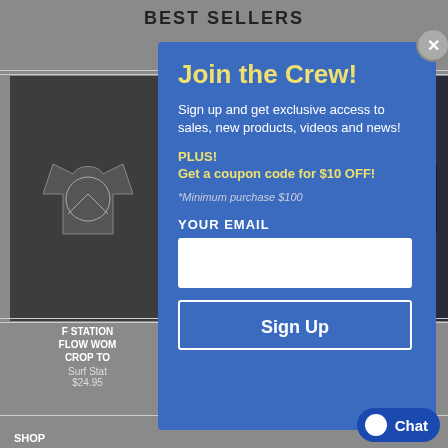BEST SELLERS
[Figure (screenshot): Background e-commerce page showing t-shirts for sale, partially visible behind modal]
Join the Crew!
Sign up and get exclusive access to sales, new products, videos and news!
PLUS!
Get a coupon code for $10 OFF!
*Minimum purchase $100
YOUR EMAIL
Sign Up